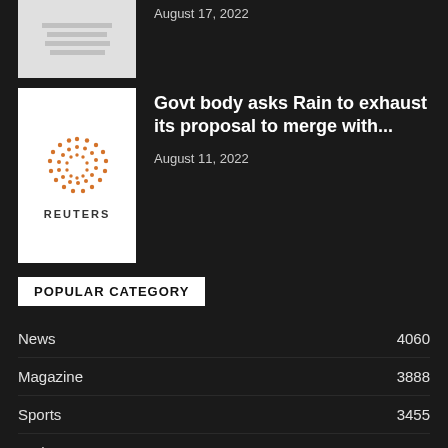August 17, 2022
[Figure (photo): Thumbnail placeholder image with horizontal grey lines]
Govt body asks Rain to exhaust its proposal to merge with...
August 11, 2022
[Figure (logo): Reuters logo: orange dotted circle above REUTERS text in black, on white background]
POPULAR CATEGORY
News 4060
Magazine 3888
Sports 3455
Tech 3259
Celebs 1646
Sci-Fi 1611
Economy 1600